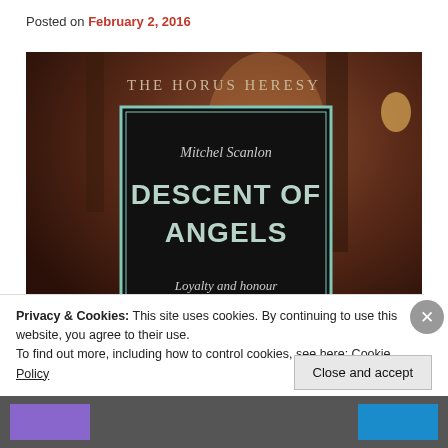Posted on February 2, 2016
[Figure (photo): Book cover of 'Descent of Angels' by Mitchel Scanlon, part of The Horus Heresy series. Black cover with teal border showing title text: THE HORUS HERESY, Mitchel Scanlon, DESCENT OF ANGELS, Loyalty and honour. Background shows a dark atmospheric scene.]
Privacy & Cookies: This site uses cookies. By continuing to use this website, you agree to their use.
To find out more, including how to control cookies, see here: Cookie Policy
Close and accept